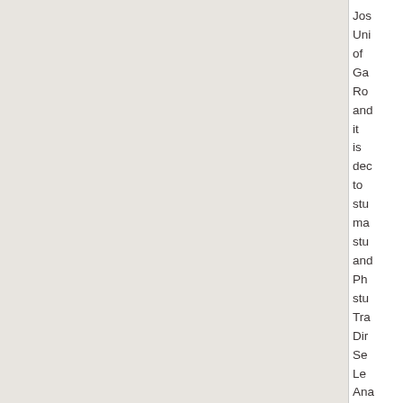Jos Uni of Ga Ro and it is dec to stu ma stu and Ph stu Tra Dir Se Le Ana Ali Ion Du Ph